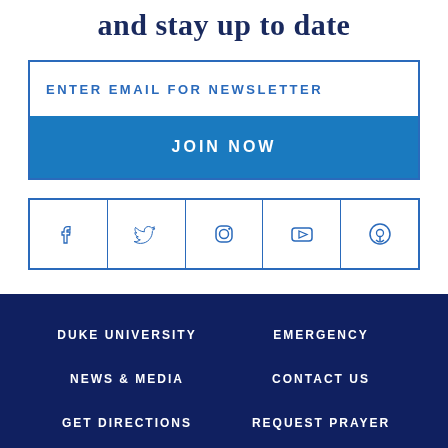and stay up to date
ENTER EMAIL FOR NEWSLETTER
JOIN NOW
[Figure (infographic): Row of 5 social media icons in outlined boxes: Facebook, Twitter, Instagram, YouTube, Podcast]
DUKE UNIVERSITY
EMERGENCY
NEWS & MEDIA
CONTACT US
GET DIRECTIONS
REQUEST PRAYER